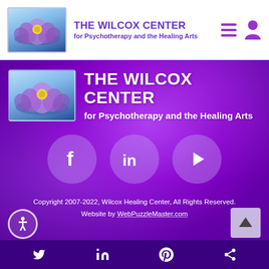THE WILCOX CENTER for Psychotherapy and the Healing Arts
[Figure (logo): The Wilcox Center logo with lotus flower and purple text on purple background section]
[Figure (infographic): Social media icons: Facebook, LinkedIn, YouTube in round purple circles]
Copyright 2007-2022, Wilcox Healing Center, All Rights Reserved. Website by WebPuzzleMaster.com
Twitter, LinkedIn, Pinterest, Share social icons bottom bar